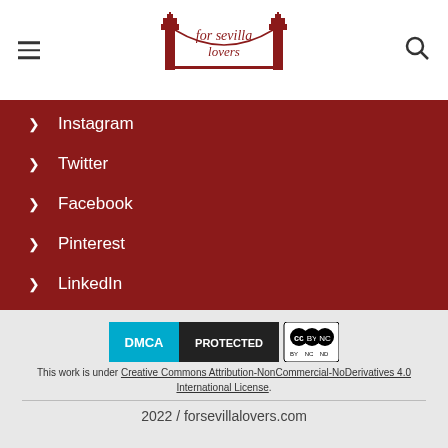forsevillalovers - header with hamburger menu and search
Instagram
Twitter
Facebook
Pinterest
LinkedIn
[Figure (logo): DMCA Protected badge and Creative Commons BY-NC-ND license badge]
This work is under Creative Commons Attribution-NonCommercial-NoDerivatives 4.0 International License.
2022 / forsevillalovers.com